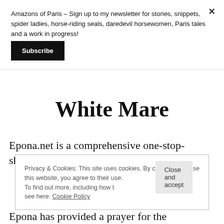Amazons of Paris – Sign up to my newsletter for stories, snippets, spider ladies, horse-riding seals, daredevil horsewomen, Paris tales and a work in progress!
Subscribe
×
White Mare
Epona.net is a comprehensive one-stop-shop for all the known sources on the
Privacy & Cookies: This site uses cookies. By continuing to use this website, you agree to their use.
To find out more, including how to control cookies, see here: Cookie Policy
Close and accept
Epona has provided a prayer for the